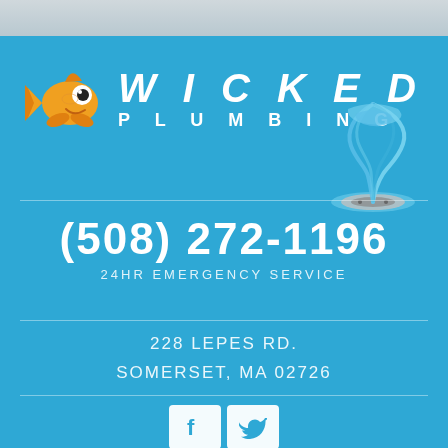[Figure (logo): Wicked Plumbing logo with orange fish mascot cartoon and water vortex drain illustration]
WICKED PLUMBING
(508) 272-1196
24HR EMERGENCY SERVICE
228 LEPES RD.
SOMERSET, MA 02726
[Figure (illustration): Facebook and Twitter social media icon buttons]